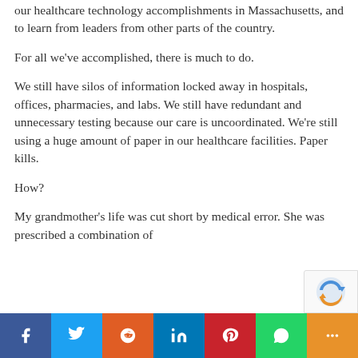our healthcare technology accomplishments in Massachusetts, and to learn from leaders from other parts of the country.
For all we've accomplished, there is much to do.
We still have silos of information locked away in hospitals, offices, pharmacies, and labs. We still have redundant and unnecessary testing because our care is uncoordinated. We're still using a huge amount of paper in our healthcare facilities. Paper kills.
How?
My grandmother's life was cut short by medical error. She was prescribed a combination of
[Figure (other): Social media share bar with buttons for Facebook, Twitter, Reddit, LinkedIn, Pinterest, WhatsApp, and More (share)]